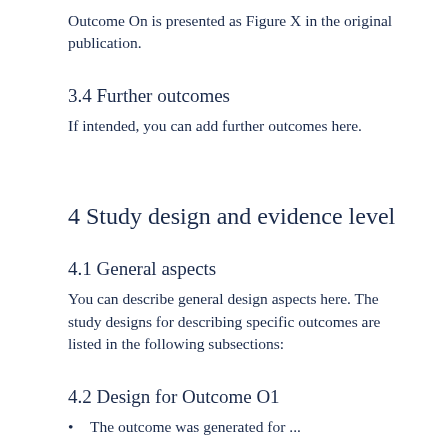Outcome On is presented as Figure X in the original publication.
3.4 Further outcomes
If intended, you can add further outcomes here.
4 Study design and evidence level
4.1 General aspects
You can describe general design aspects here. The study designs for describing specific outcomes are listed in the following subsections:
4.2 Design for Outcome O1
The outcome was generated for ...